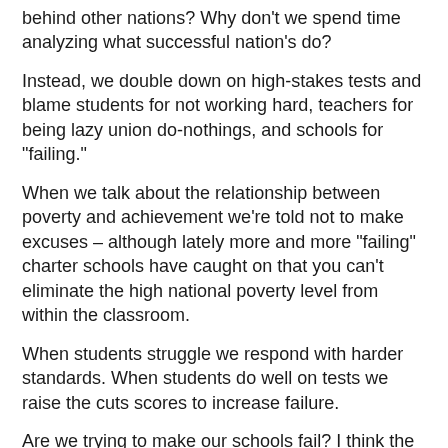behind other nations? Why don't we spend time analyzing what successful nation's do?
Instead, we double down on high-stakes tests and blame students for not working hard, teachers for being lazy union do-nothings, and schools for "failing."
When we talk about the relationship between poverty and achievement we're told not to make excuses – although lately more and more "failing" charter schools have caught on that you can't eliminate the high national poverty level from within the classroom.
When students struggle we respond with harder standards. When students do well on tests we raise the cuts scores to increase failure.
Are we trying to make our schools fail? I think the answer is, "yes." Failing public schools means more privatization which means more charter and tax supported private schools. It means weaker unions which means lower wages, which means more profit.